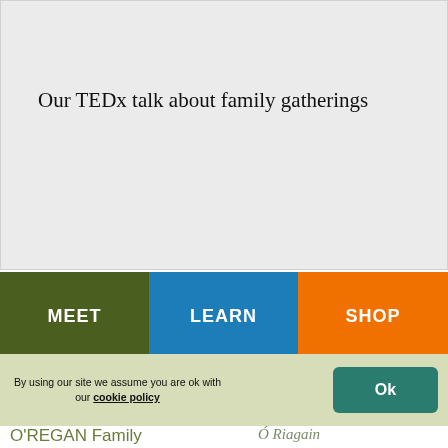[Figure (screenshot): Grey placeholder box for embedded video or image content]
Our TEDx talk about family gatherings
MEET
LEARN
SHOP
By using our site we assume you are ok with our cookie policy
Ok
O'REGAN Family
Ó Riagain